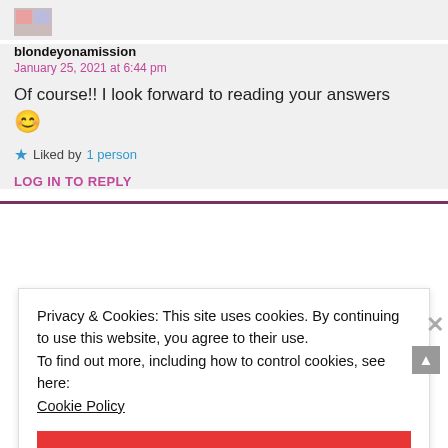[Figure (photo): Small avatar thumbnail image]
blondeyonamission
January 25, 2021 at 6:44 pm
Of course!! I look forward to reading your answers 😊
★ Liked by 1 person
LOG IN TO REPLY
Privacy & Cookies: This site uses cookies. By continuing to use this website, you agree to their use.
To find out more, including how to control cookies, see here:
Cookie Policy
CLOSE AND ACCEPT